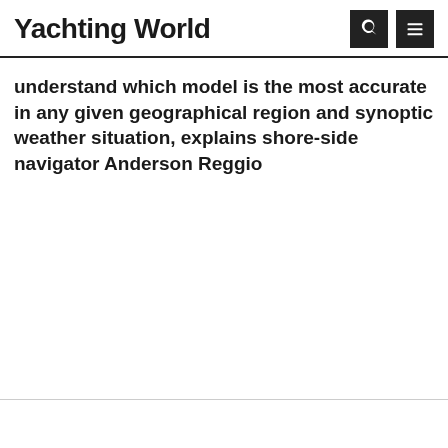Yachting World
understand which model is the most accurate in any given geographical region and synoptic weather situation, explains shore-side navigator Anderson Reggio